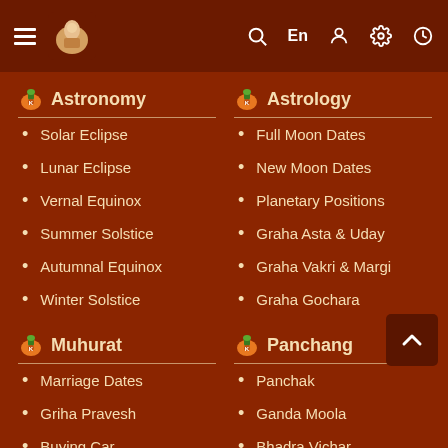≡  [logo] Q En [user] [settings] [clock]
Astronomy
Solar Eclipse
Lunar Eclipse
Vernal Equinox
Summer Solstice
Autumnal Equinox
Winter Solstice
Astrology
Full Moon Dates
New Moon Dates
Planetary Positions
Graha Asta & Uday
Graha Vakri & Margi
Graha Gochara
Muhurat
Marriage Dates
Griha Pravesh
Buying Car
Panchang
Panchak
Ganda Moola
Bhadra Vichar